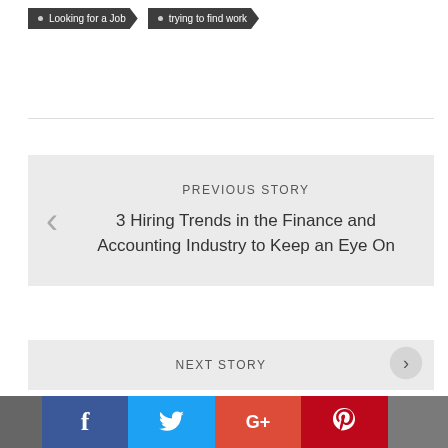Looking for a Job
trying to find work
PREVIOUS STORY
3 Hiring Trends in the Finance and Accounting Industry to Keep an Eye On
NEXT STORY
[Figure (other): Social media share bar with Facebook, Twitter, Google+, Pinterest icons]